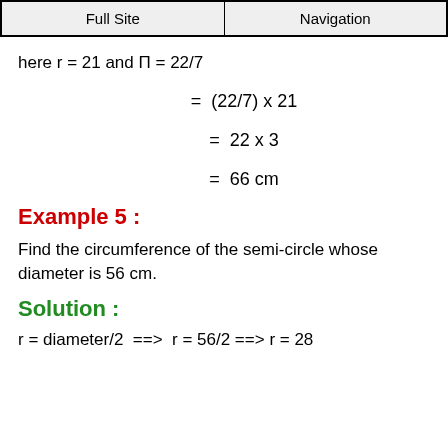Full Site | Navigation
here r = 21 and Π = 22/7
Example 5 :
Find the circumference of the semi-circle whose diameter is 56 cm.
Solution :
r = diameter/2  ==>  r = 56/2 ==> r = 28